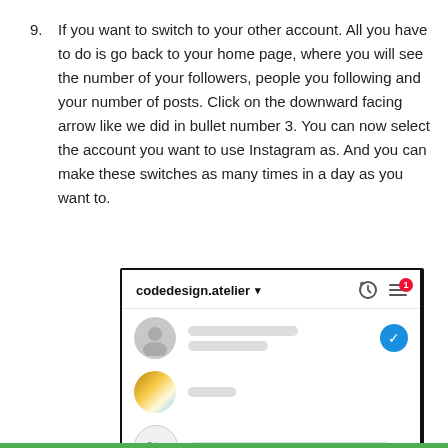9. If you want to switch to your other account. All you have to do is go back to your home page, where you will see the number of your followers, people you following and your number of posts. Click on the downward facing arrow like we did in bullet number 3. You can now select the account you want to use Instagram as. And you can make these switches as many times in a day as you want to.
[Figure (screenshot): Instagram account switcher UI showing username 'codedesign.atelier' with a dropdown arrow, clock icon, and menu icon with notification badge '1'. Below are three account rows: first with gray avatar and blurred text lines plus a blue checkmark, second with a photo avatar and blurred text, third with a circular avatar labeled 'Being Thankful' and blurred text.]